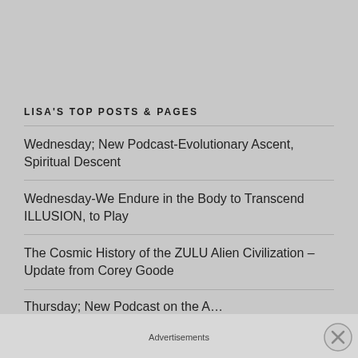LISA'S TOP POSTS & PAGES
Wednesday; New Podcast-Evolutionary Ascent, Spiritual Descent
Wednesday-We Endure in the Body to Transcend ILLUSION, to Play
The Cosmic History of the ZULU Alien Civilization – Update from Corey Goode
Thursday; New Podcast on the A…
Advertisements